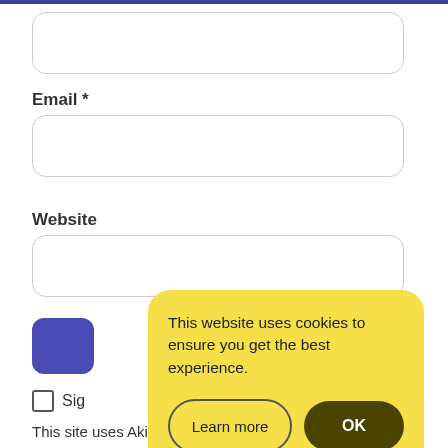[Figure (screenshot): Top input field (text input box, partially visible at top of page)]
Email *
[Figure (screenshot): Email input field (text input box)]
Website
[Figure (screenshot): Website input field (text input box)]
[Figure (screenshot): Purple submit button (partially visible)]
Sig
This website uses cookies to ensure you get the best experience.
This site uses Akismet to reduce spam. Learn how your